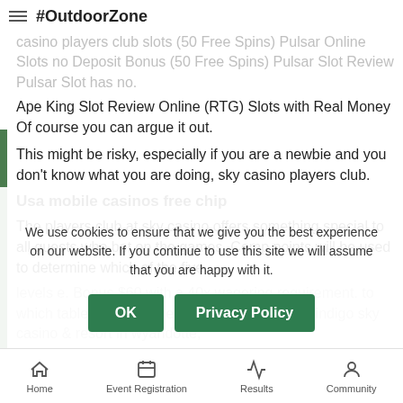#OutdoorZone
casino players club slots (50 Free Spins) Pulsar Online Slots no Deposit Bonus (50 Free Spins) Pulsar Slot Review Pulsar Slot has no. Ape King Slot Review Online (RTG) Slots with Real Money Of course you can argue it out.
This might be risky, especially if you are a newbie and you don't know what you are doing, sky casino players club.
Usa mobile casinos free chip
The players club at sky casino offers something special to all guests who bet on the games. Comp points will be used to determine which of the five levels e. Bonus $60 with a 40x wagering requirement. to which table & card games. Loyalt... platform at indigo sky casino & resort in wyandotte,
We use cookies to ensure that we give you the best experience on our website. If you continue to use this site we will assume that you are happy with it.
Home   Event Registration   Results   Community